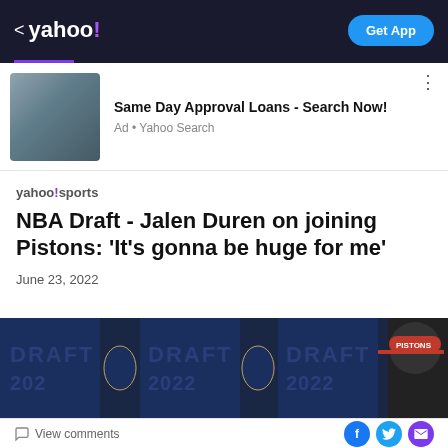< yahoo! | Get App
[Figure (photo): Advertisement banner showing a couple embracing, with text 'Same Day Approval Loans - Search Now!' and 'Ad • Yahoo Search']
yahoo!sports
NBA Draft - Jalen Duren on joining Pistons: 'It's gonna be huge for me'
June 23, 2022
[Figure (photo): NBA Draft 2022 backdrop with repeated DRAFT 2022 text and NBA logo, with partial view of a person wearing a Detroit Pistons hat]
View comments | Facebook | Twitter | Mail